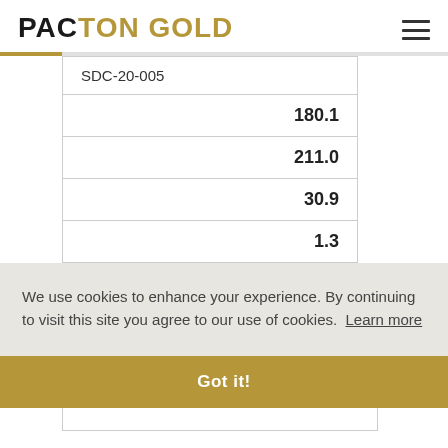PACTON GOLD
| SDC-20-005 |
| 180.1 |
| 211.0 |
| 30.9 |
| 1.3 |
We use cookies to enhance your experience. By continuing to visit this site you agree to our use of cookies. Learn more
Got it!